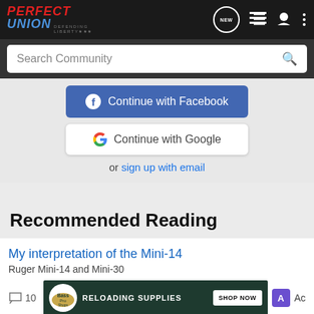Perfect Union — Defending Liberty
Search Community
Continue with Facebook
Continue with Google
or sign up with email
Recommended Reading
My interpretation of the Mini-14
Ruger Mini-14 and Mini-30
10
[Figure (screenshot): Bass Pro Shops ad banner: RELOADING SUPPLIES — SHOP NOW]
Ac